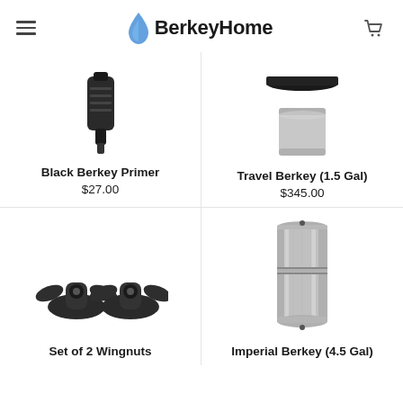BerkeyHome
[Figure (photo): Black Berkey Primer product image]
Black Berkey Primer
$27.00
[Figure (photo): Travel Berkey (1.5 Gal) product image - stainless steel water filter, top and bottom pieces shown]
Travel Berkey (1.5 Gal)
$345.00
[Figure (photo): Set of 2 Wingnuts - two black wing-nut fasteners]
Set of 2 Wingnuts
[Figure (photo): Imperial Berkey (4.5 Gal) - tall stainless steel water filter canister]
Imperial Berkey (4.5 Gal)